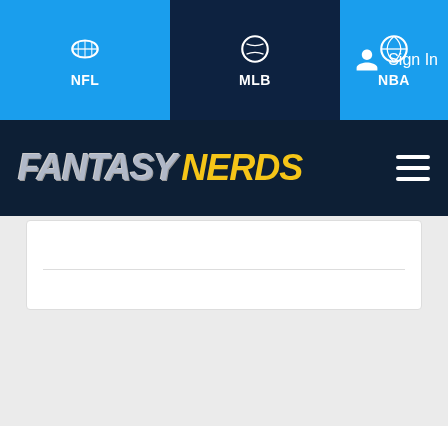NFL  MLB  NBA  Sign In
FANTASY NERDS
[Figure (screenshot): Fantasy Nerds website screenshot showing navigation bar with NFL, MLB, NBA tabs and Sign In button, dark navy brand bar with Fantasy Nerds logo and hamburger menu, and a white search card area below on a light gray background]